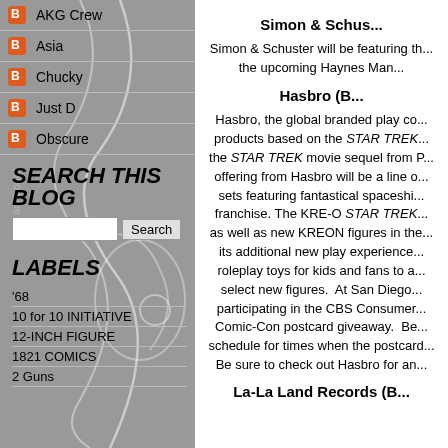AKG Crew
Asia
Chucky
Just D
Obscure
SEARCH THIS BLOG
LABELS
'68
10 for 10 INITIATIVE
12-INCH FIGURE
1821 COMICS
2 Guns
Simon & Schus...
Simon & Schuster will be featuring th... the upcoming Haynes Man...
Hasbro (B...
Hasbro, the global branded play co... products based on the STAR TREK... the STAR TREK movie sequel from P... offering from Hasbro will be a line o... sets featuring fantastical spaceshi... franchise. The KRE-O STAR TREK... as well as new KREON figures in the... its additional new play experience... roleplay toys for kids and fans to a... select new figures. At San Diego... participating in the CBS Consumer... Comic-Con postcard giveaway. Be... schedule for times when the postcard... Be sure to check out Hasbro for an...
La-La Land Records (B...